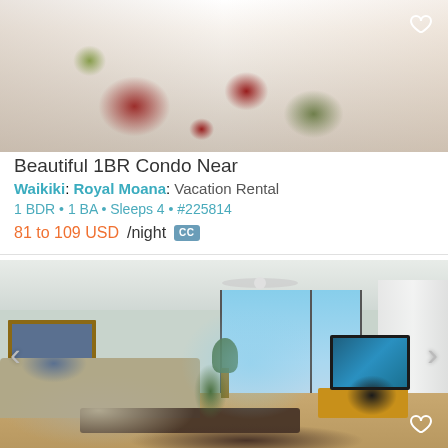[Figure (photo): Bedroom photo showing floral bedding with red flowers on dark background, white pillows, and wicker headboard]
Beautiful 1BR Condo Near Waikiki: Royal Moana: Vacation Rental
1 BDR • 1 BA • Sleeps 4 • #225814
81 to 109 USD/night  CC
[Figure (photo): Living room photo showing sofa, ceiling fan, balcony with ocean view, wall art, potted plant, TV on wooden stand, and dark patterned rug]